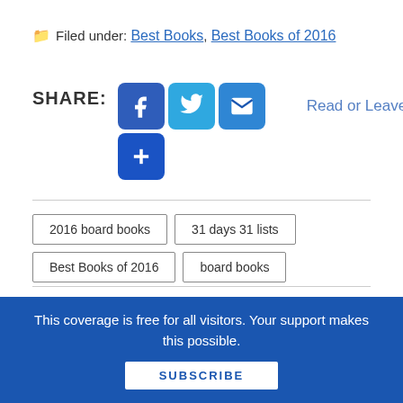Filed under: Best Books, Best Books of 2016
[Figure (infographic): Share buttons row: Facebook (blue), Twitter (light blue), Email (blue), Plus (dark blue), and Read or Leave Comments link]
2016 board books
31 days 31 lists
Best Books of 2016
board books
This coverage is free for all visitors. Your support makes this possible.
SUBSCRIBE